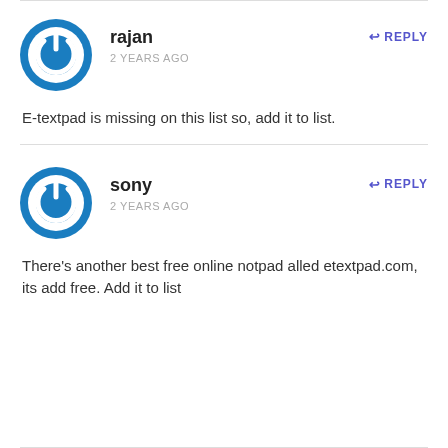[Figure (illustration): Blue circular power button icon avatar for user rajan]
rajan
2 YEARS AGO
REPLY
E-textpad is missing on this list so, add it to list.
[Figure (illustration): Blue circular power button icon avatar for user sony]
sony
2 YEARS AGO
REPLY
There's another best free online notpad alled etextpad.com, its add free. Add it to list